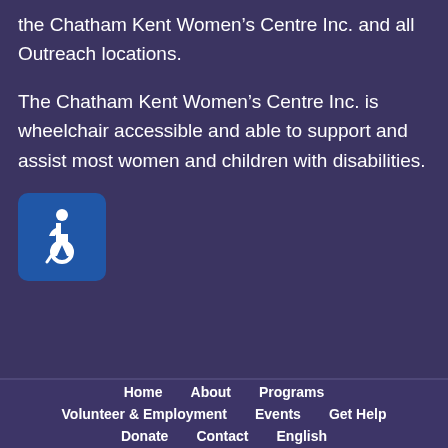the Chatham Kent Women’s Centre Inc. and all Outreach locations.
The Chatham Kent Women’s Centre Inc. is wheelchair accessible and able to support and assist most women and children with disabilities.
[Figure (illustration): International Symbol of Access (wheelchair accessibility icon) — white wheelchair figure on blue rounded-square background]
Home   About   Programs   Volunteer & Employment   Events   Get Help   Donate   Contact   English